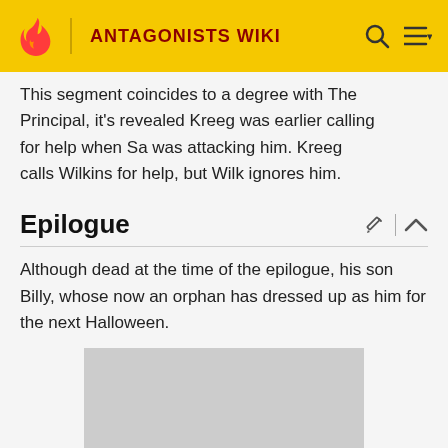ANTAGONISTS WIKI
This segment coincides to a degree with The Principal, it's revealed Kreeg was earlier calling for help when Sa was attacking him. Kreeg calls Wilkins for help, but Wilk ignores him.
Epilogue
Although dead at the time of the epilogue, his son Billy, whose now an orphan has dressed up as him for the next Halloween.
[Figure (photo): Gray image placeholder at the bottom of the page]